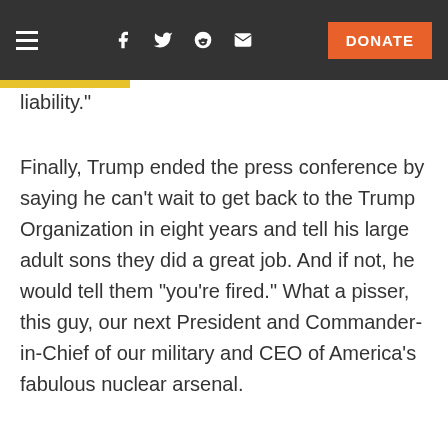[Navigation bar with hamburger menu, Facebook, Twitter, Reddit, email icons, and DONATE button]
liability."
Finally, Trump ended the press conference by saying he can't wait to get back to the Trump Organization in eight years and tell his large adult sons they did a great job. And if not, he would tell them "you're fired." What a pisser, this guy, our next President and Commander-in-Chief of our military and CEO of America's fabulous nuclear arsenal.